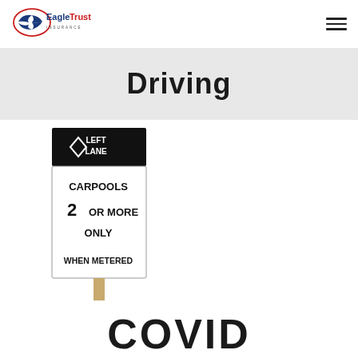[Figure (logo): Eagle Trust Insurance logo with eagle graphic and text]
Driving
[Figure (photo): Road sign reading LEFT LANE CARPOOLS 2 OR MORE ONLY WHEN METERED with diamond HOV symbol, mounted on a wooden post]
COVID